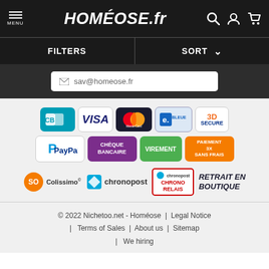MENU  HOMÉOSE.fr
FILTERS  SORT
sav@homeose.fr
[Figure (infographic): Payment method logos: CB, VISA, MasterCard, e.BLEUE, 3D SECURE, PayPal, Chèque Bancaire, Virement, Paiement 3X Sans Frais]
[Figure (infographic): Delivery logos: SO Colissimo, Chronopost, Chrono Relais, Retrait en Boutique]
© 2022 Nichetoo.net - Homéose | Legal Notice | Terms of Sales | About us | Sitemap | We hiring